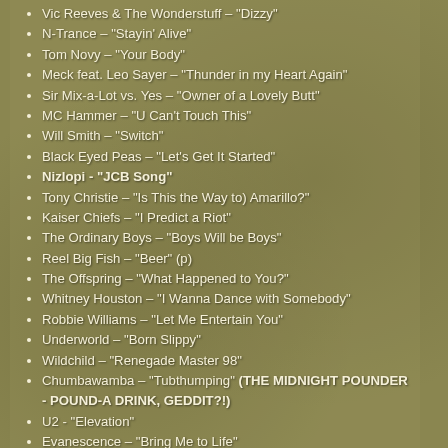Vic Reeves & The Wonderstuff – "Dizzy"
N-Trance – "Stayin' Alive"
Tom Novy – "Your Body"
Meck feat. Leo Sayer – "Thunder in my Heart Again"
Sir Mix-a-Lot vs. Yes – "Owner of a Lovely Butt"
MC Hammer – "U Can't Touch This"
Will Smith – "Switch"
Black Eyed Peas – "Let's Get It Started"
Nizlopi - "JCB Song"
Tony Christie – "Is This the Way to) Amarillo?"
Kaiser Chiefs – "I Predict a Riot"
The Ordinary Boys – "Boys Will be Boys"
Reel Big Fish – "Beer" (p)
The Offspring – "What Happened to You?"
Whitney Houston – "I Wanna Dance with Somebody"
Robbie Williams – "Let Me Entertain You"
Underworld – "Born Slippy"
Wildchild – "Renegade Master 98"
Chumbawamba – "Tubthumping" (THE MIDNIGHT POUNDER - POUND-A DRINK, GEDDIT?!)
U2 - "Elevation"
Evanescence – "Bring Me to Life"
Kelly Clarkson – "Since U Been Gone" (r)
Supergrass – "Alright"
Shirley Bassey – "Big Spender"
Bjork – "It's Oh So Quiet"
Frank Sinatra – "New York, New York"